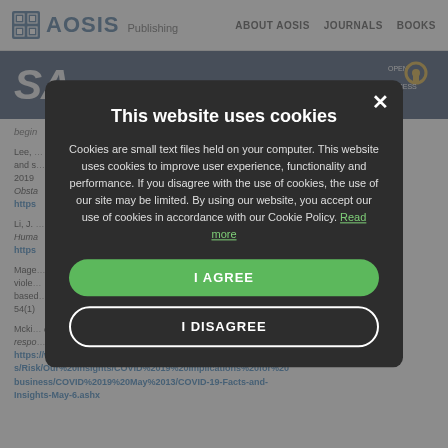[Figure (screenshot): Background screenshot of AOSIS Publishing journal website showing SA Journal header and reference list text, partially obscured by cookie consent modal.]
[Figure (other): Cookie consent modal dialog with title 'This website uses cookies', explanatory text, 'I AGREE' and 'I DISAGREE' buttons on dark background overlay.]